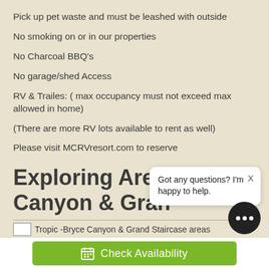Pick up pet waste and must be leashed with outside
No smoking on or in our properties
No Charcoal BBQ's
No garage/shed Access
RV & Trailes: ( max occupancy must not exceed max allowed in home)
(There are more RV lots available to rent as well)
Please visit MCRVresort.com to reserve
Exploring Area Canyon & Gran
[Figure (photo): Tropic - Bryce Canyon & Grand Staircase areas - image placeholder with alt text]
Got any questions? I'm happy to help.
Check Availability